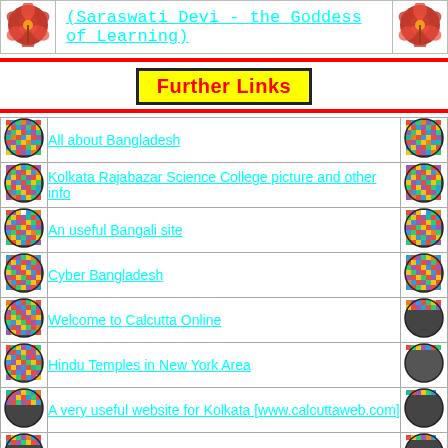[Figure (other): Header row with red hibiscus flower images and cyan link text: (Saraswati Devi - the Goddess of Learning)]
Further Links
| icon | link | icon |
| --- | --- | --- |
| [mosaic] | All about Bangladesh | [mosaic] |
| [mosaic] | Kolkata Rajabazar Science College picture and other info | [mosaic] |
| [mosaic] | An useful Bangali site | [mosaic] |
| [mosaic] | Cyber Bangladesh | [mosaic] |
| [mosaic] | Welcome to Calcutta Online | [mosaic] |
| [mosaic] | Hindu Temples in New York Area | [mosaic] |
| [mosaic] | A very useful website for Kolkata [www.calcuttaweb.com] | [mosaic] |
| [mosaic] | Official Homepage for West Bengal | [mosaic] |